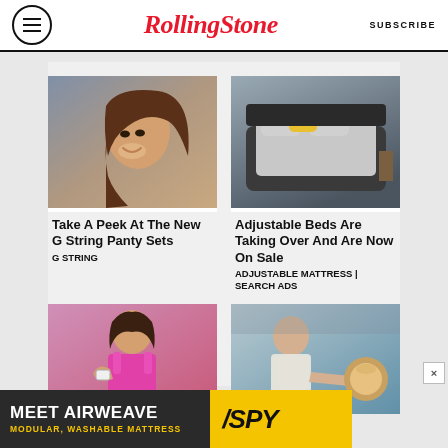RollingStone  SUBSCRIBE
[Figure (photo): Woman with long brown hair smiling - advertisement image for G String Panty Sets]
Take A Peek At The New G String Panty Sets
G STRING
[Figure (photo): Dark gray adjustable bed with yellow pillow - advertisement image for Adjustable Mattress]
Adjustable Beds Are Taking Over And Are Now On Sale
ADJUSTABLE MATTRESS | SEARCH ADS
[Figure (photo): Woman in pink sports bra scratching arm - health advertisement]
[Figure (photo): Doctor pointing at something - medical advertisement]
[Figure (screenshot): Bottom banner ad: MEET AIRWEAVE MODULAR, WASHABLE MATTRESS with SPY logo]